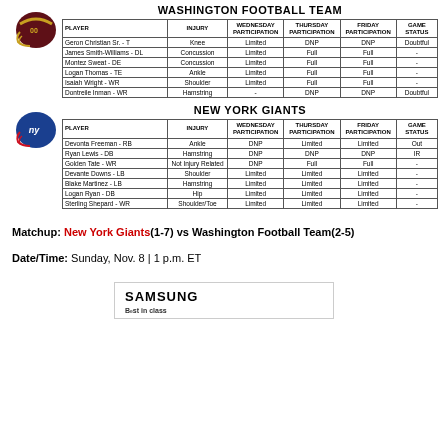[Figure (illustration): Washington Football Team helmet (dark red/maroon with gold accents)]
WASHINGTON FOOTBALL TEAM
| PLAYER | INJURY | WEDNESDAY PARTICIPATION | THURSDAY PARTICIPATION | FRIDAY PARTICIPATION | GAME STATUS |
| --- | --- | --- | --- | --- | --- |
| Geron Christian Sr. - T | Knee | Limited | DNP | DNP | Doubtful |
| James Smith-Williams - DL | Concussion | Limited | Full | Full | - |
| Montez Sweat - DE | Concussion | Limited | Full | Full | - |
| Logan Thomas - TE | Ankle | Limited | Full | Full | - |
| Isaiah Wright - WR | Shoulder | Limited | Full | Full | - |
| Dontreile Inman - WR | Hamstring | - | DNP | DNP | Doubtful |
[Figure (illustration): New York Giants helmet (blue with ny logo)]
NEW YORK GIANTS
| PLAYER | INJURY | WEDNESDAY PARTICIPATION | THURSDAY PARTICIPATION | FRIDAY PARTICIPATION | GAME STATUS |
| --- | --- | --- | --- | --- | --- |
| Devonta Freeman - RB | Ankle | DNP | Limited | Limited | Out |
| Ryan Lewis - DB | Hamstring | DNP | DNP | DNP | IR |
| Golden Tate - WR | Not Injury Related | DNP | Full | Full | - |
| Devante Downs - LB | Shoulder | Limited | Limited | Limited | - |
| Blake Martinez - LB | Hamstring | Limited | Limited | Limited | - |
| Logan Ryan - DB | Hip | Limited | Limited | Limited | - |
| Sterling Shepard - WR | Shoulder/Toe | Limited | Limited | Limited | - |
Matchup: New York Giants(1-7) vs Washington Football Team(2-5)
Date/Time: Sunday, Nov. 8 | 1 p.m. ET
[Figure (logo): Samsung logo with text below]